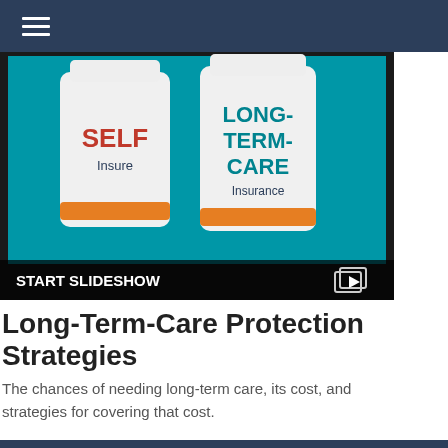[Figure (photo): Tablet screen showing two pill bottles labeled 'SELF Insure' and 'LONG-TERM-CARE Insurance' on a teal background, with 'START SLIDESHOW' text and a slideshow icon overlay at the bottom.]
Long-Term-Care Protection Strategies
The chances of needing long-term care, its cost, and strategies for covering that cost.